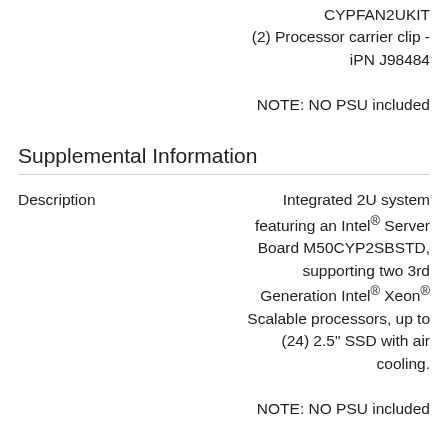CYPFAN2UKIT
(2) Processor carrier clip - iPN J98484

NOTE: NO PSU included
Supplemental Information
Description	Integrated 2U system featuring an Intel® Server Board M50CYP2SBSTD, supporting two 3rd Generation Intel® Xeon® Scalable processors, up to (24) 2.5" SSD with air cooling.

NOTE: NO PSU included
Memory & Storage